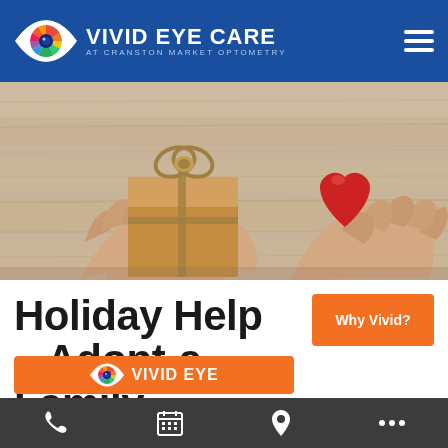VIVID EYE CARE AT CRANSTON MARKET OPTOMETRY
[Figure (photo): Overhead view of two pairs of hands on a white wooden surface: one pair holding a kraft paper wrapped gift with twine bow, another hand holding a small red felt heart shape.]
Holiday Help – Adopt-a-Family
[Figure (other): Orange button with Vivid Eye Care logo and text 'VIVID EYE' partially visible – Call To Action bar]
Why Vivid?
Phone | Calendar | Location | More